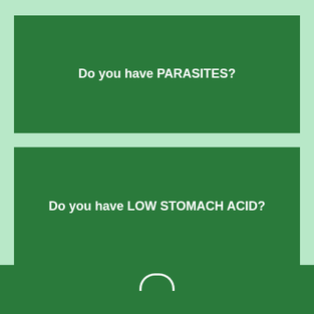[Figure (infographic): Green box with white bold text asking 'Do you have PARASITES?']
[Figure (infographic): Green box with white bold text asking 'Do you have LOW STOMACH ACID?']
[Figure (infographic): Dark green footer bar with partial white arc/circle icon at bottom of page]